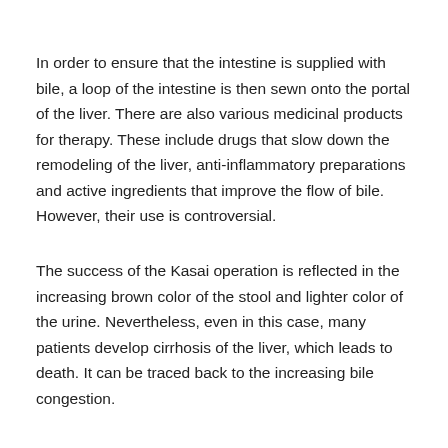In order to ensure that the intestine is supplied with bile, a loop of the intestine is then sewn onto the portal of the liver. There are also various medicinal products for therapy. These include drugs that slow down the remodeling of the liver, anti-inflammatory preparations and active ingredients that improve the flow of bile. However, their use is controversial.
The success of the Kasai operation is reflected in the increasing brown color of the stool and lighter color of the urine. Nevertheless, even in this case, many patients develop cirrhosis of the liver, which leads to death. It can be traced back to the increasing bile congestion.